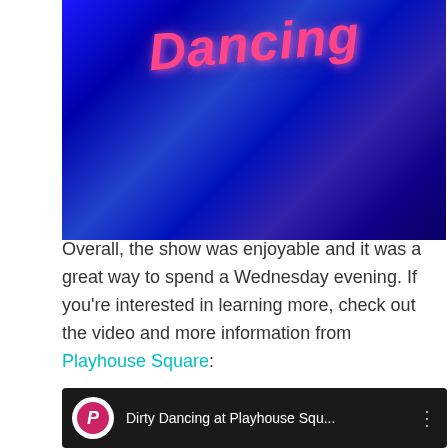[Figure (photo): Photo of a Dirty Dancing show program or poster with pink scripted text reading 'Dirty Dancing' against a dark blue background]
Overall, the show was enjoyable and it was a great way to spend a Wednesday evening. If you’re interested in learning more, check out the video and more information from Playhouse Square:
[Figure (screenshot): YouTube video embed thumbnail showing Playhouse Square channel logo and title 'Dirty Dancing at Playhouse Squ...']